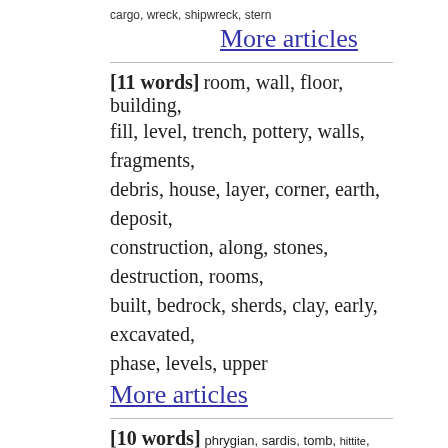cargo, wreck, shipwreck, stern
More articles
[11 words] room, wall, floor, building, fill, level, trench, pottery, walls, fragments, debris, house, layer, corner, earth, deposit, construction, along, stones, destruction, rooms, built, bedrock, sherds, clay, early, excavated, phase, levels, upper
More articles
[10 words] phrygian, sardis, tomb, hittite, gordion, anatolian, schliemann, anatolia, ankara, lydian, troy, calvert, mound, tumulus, symposium, istanbul, tombs, anatst, turkey, hellenistic, citadel, pottery, urartian, finds, levels, temple, early, belleten, akurgal, architectural
More articles
[10 words] money, property, paid, payment, amount, price, talents, land, sale, value, financial, cost, received, wealth, gold, private, treasury, public, taxes, drachmas, sold, denarii, payments, income, sesterces, silver, debt,